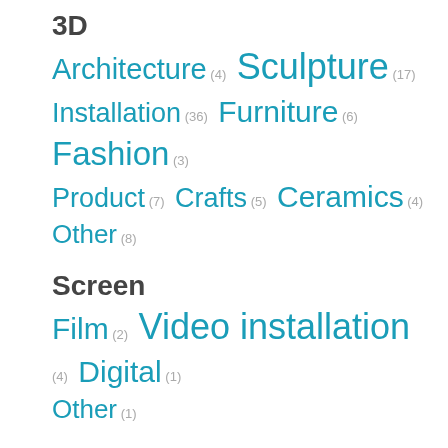3D
Architecture (4) Sculpture (17) Installation (36) Furniture (6) Fashion (3) Product (7) Crafts (5) Ceramics (4) Other (8)
Screen
Film (2) Video installation (4) Digital (1) Other (1)
Misc.
Media Arts (1) Art Party (0) Art Talk (2) Performance Art (4) Art Competition (0)
Area:
Queens(5) Harlem, Bronx(5) Bushwick(1)